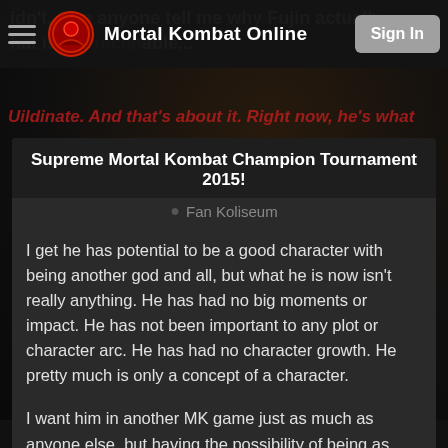Mortal Kombat Online — Sign In
Supreme Mortal Kombat Champion Tournament 2015!
Fan Koliseum
I get he has potential to be a good character with being another god and all, but what he is now isn't really anything. He has had no big moments or impact. He has not been important to any plot or character arc. He has had no character growth. He pretty much is only a concept of a character.
I want him in another MK game just as much as anyone else, but having the possibility of being as good as Raiden doesn't make him a better than Raiden.